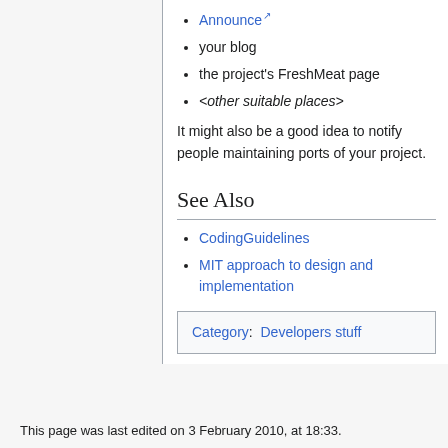Announce [external link]
your blog
the project's FreshMeat page
<other suitable places>
It might also be a good idea to notify people maintaining ports of your project.
See Also
CodingGuidelines
MIT approach to design and implementation
Category:  Developers stuff
This page was last edited on 3 February 2010, at 18:33.
Content is available under CC BY 3.0 and revised BSD unless otherwise noted.